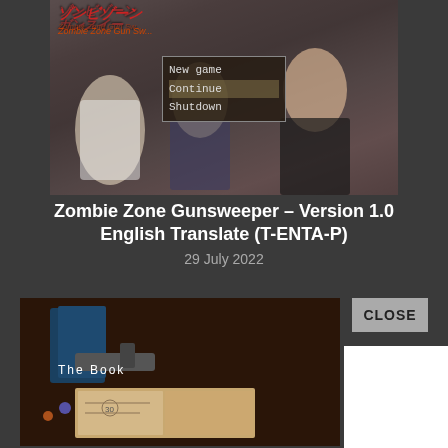[Figure (screenshot): Anime-style game screenshot of Zombie Zone Gunsweeper showing characters and a menu with options: New game, Continue, Shutdown]
Zombie Zone Gunsweeper – Version 1.0 English Translate (T-ENTA-P)
29 July 2022
[Figure (screenshot): Game screenshot showing a book scene with text 'The Book' and a close button overlay, with a white dialog box partially visible]